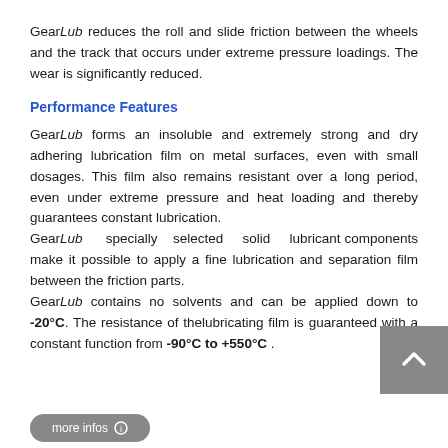GearLub reduces the roll and slide friction between the wheels and the track that occurs under extreme pressure loadings. The wear is significantly reduced.
Performance Features
GearLub forms an insoluble and extremely strong and dry adhering lubrication film on metal surfaces, even with small dosages. This film also remains resistant over a long period, even under extreme pressure and heat loading and thereby guarantees constant lubrication.
GearLub specially selected solid lubricant components make it possible to apply a fine lubrication and separation film between the friction parts.
GearLub contains no solvents and can be applied down to -20°C. The resistance of thelubricating film is guaranteed with a constant function from -90°C to +550°C .